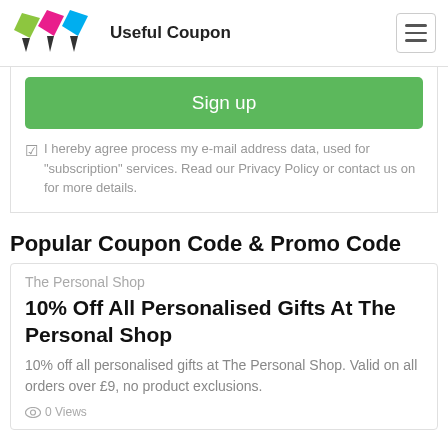Useful Coupon
Sign up
I hereby agree process my e-mail address data, used for "subscription" services. Read our Privacy Policy or contact us on for more details.
Popular Coupon Code & Promo Code
The Personal Shop
10% Off All Personalised Gifts At The Personal Shop
10% off all personalised gifts at The Personal Shop. Valid on all orders over £9, no product exclusions.
0 Views